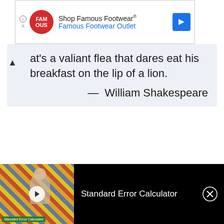[Figure (screenshot): Advertisement banner for Famous Footwear Outlet with red circular logo, info icon, and blue arrow button]
at's a valiant flea that dares eat his breakfast on the lip of a lion.
— William Shakespeare
It is not enough to help the feeble up, but to support him after.
— William Shakespeare
Lives like a drunken sailor on a mast, Ready with every nod to tumble down Into the fatal bowels of
[Figure (screenshot): Video overlay bar at bottom showing Standard Error Calculator thumbnail and title on black background with close button]